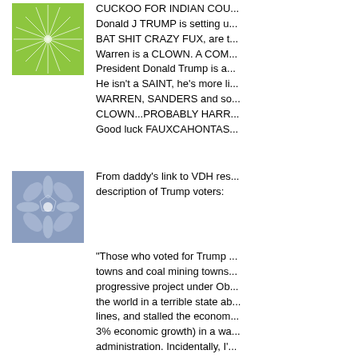[Figure (illustration): Green sunburst/starburst avatar icon on green background]
CUCKOO FOR INDIAN COU... Donald J TRUMP is setting u... BAT SHIT CRAZY FUX, are t... Warren is a CLOWN. A COM... President Donald Trump is a... He isn't a SAINT, he's more li... WARREN, SANDERS and so... CLOWN...PROBABLY HARR... Good luck FAUXCAHONTAS...
[Figure (illustration): Blue geometric snowflake/star pattern avatar on blue-gray background]
From daddy's link to VDH res... description of Trump voters:
"Those who voted for Trump ... towns and coal mining towns... progressive project under Ob... the world in a terrible state ab... lines, and stalled the econom... 3% economic growth) in a wa... administration. Incidentally, I'... towns and discovered that th... globalization complain a lot le...